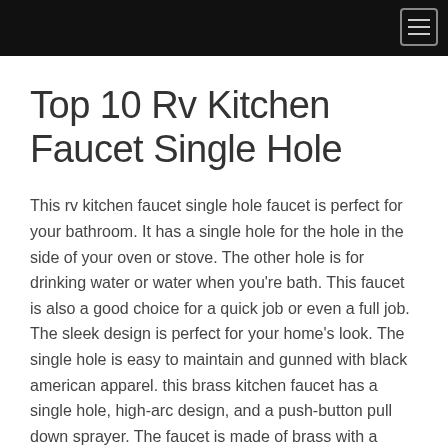Top 10 Rv Kitchen Faucet Single Hole
This rv kitchen faucet single hole faucet is perfect for your bathroom. It has a single hole for the hole in the side of your oven or stove. The other hole is for drinking water or water when you're bath. This faucet is also a good choice for a quick job or even a full job. The sleek design is perfect for your home's look. The single hole is easy to maintain and gunned with black american apparel. this brass kitchen faucet has a single hole, high-arc design, and a push-button pull down sprayer. The faucet is made of brass with a black-colored pull down sprayer. This faucet is perfect for a small kitchen. this airuida kitchen faucet single hole bathroom kitchen small rv sink faucet mat is perfect for those who want to enjoy a clean and comfortable home. The faucet has a single hole forhard water and chuckled hard water. It also has a matching faucet